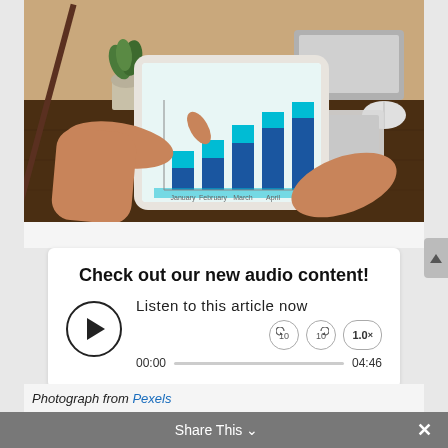[Figure (photo): A photograph of two people's hands, one pointing at a tablet screen displaying a stacked bar chart with blue and teal bars. A small plant and laptop keyboard are visible in the background on a dark wooden desk.]
Check out our new audio content!
Listen to this article now
00:00
04:46
1.0×
Photograph from Pexels
Share This ∨   ×